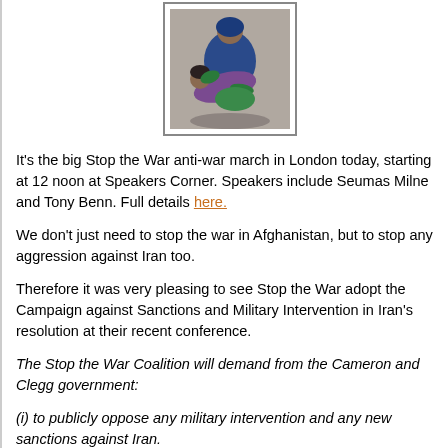[Figure (photo): Person holding an injured or unconscious child, outdoor/distressing scene]
It's the big Stop the War anti-war march in London today, starting at 12 noon at Speakers Corner. Speakers include Seumas Milne and Tony Benn. Full details here.
We don't just need to stop the war in Afghanistan, but to stop any aggression against Iran too.
Therefore it was very pleasing to see Stop the War adopt the Campaign against Sanctions and Military Intervention in Iran's resolution at their recent conference.
The Stop the War Coalition will demand from the Cameron and Clegg government:
(i) to publicly oppose any military intervention and any new sanctions against Iran.